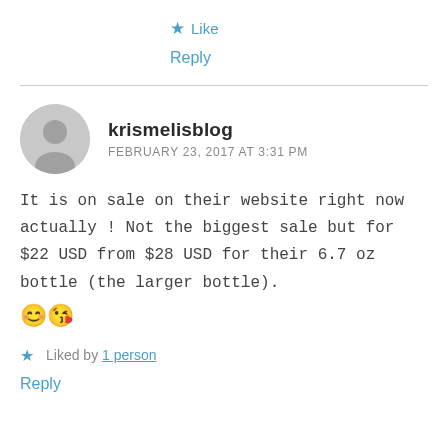★ Like
Reply
krismelisblog
FEBRUARY 23, 2017 AT 3:31 PM
It is on sale on their website right now actually ! Not the biggest sale but for $22 USD from $28 USD for their 6.7 oz bottle (the larger bottle).
😊😘
★ Liked by 1 person
Reply